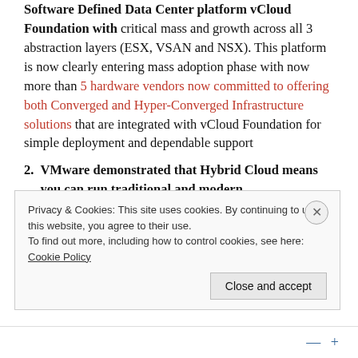Software Defined Data Center platform vCloud Foundation with critical mass and growth across all 3 abstraction layers (ESX, VSAN and NSX). This platform is now clearly entering mass adoption phase with now more than 5 hardware vendors now committed to offering both Converged and Hyper-Converged Infrastructure solutions that are integrated with vCloud Foundation for simple deployment and dependable support
VMware demonstrated that Hybrid Cloud means you can run traditional and modern
Privacy & Cookies: This site uses cookies. By continuing to use this website, you agree to their use.
To find out more, including how to control cookies, see here: Cookie Policy